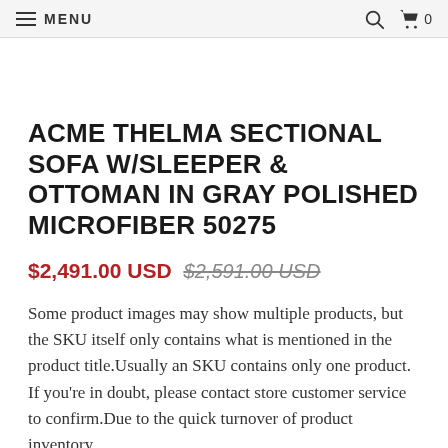MENU
ACME THELMA SECTIONAL SOFA W/SLEEPER & OTTOMAN IN GRAY POLISHED MICROFIBER 50275
$2,491.00 USD $2,591.00 USD
Some product images may show multiple products, but the SKU itself only contains what is mentioned in the product title.Usually an SKU contains only one product. If you're in doubt, please contact store customer service to confirm.Due to the quick turnover of product inventory,